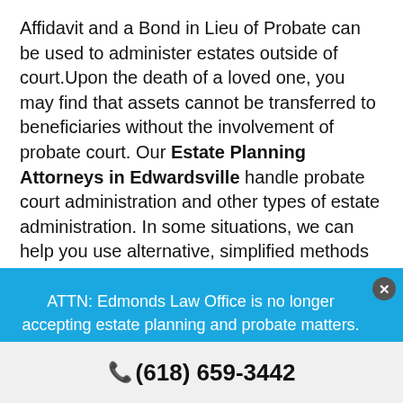Affidavit and a Bond in Lieu of Probate can be used to administer estates outside of court.Upon the death of a loved one, you may find that assets cannot be transferred to beneficiaries without the involvement of probate court. Our Estate Planning Attorneys in Edwardsville handle probate court administration and other types of estate administration. In some situations, we can help you use alternative, simplified methods to handle an estate, even if you have been told that probate court is required. Depending on the assets and
ATTN: Edmonds Law Office is no longer accepting estate planning and probate matters. For additional information, please click HERE.
(618) 659-3442